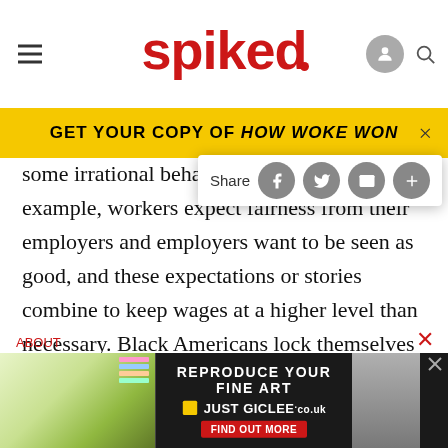spiked
GET YOUR COPY OF HOW WOKE WON
some irrational behaviours beca… tell. For example, workers expect fairness from their employers and employers want to be seen as good, and these expectations or stories combine to keep wages at a higher level than necessary. Black Americans lock themselves out of the job market because of the story they tell about we and they, and the story of exploitation at the hands of a system that they did not choose and that they consider unfair.
[Figure (screenshot): Advertisement banner for 'REPRODUCE YOUR FINE ART JUST GICLEE' with dark background, art books image on left, person image on right, and 'FIND OUT MORE' red button.]